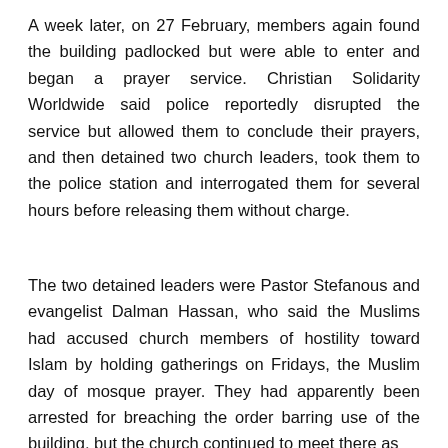A week later, on 27 February, members again found the building padlocked but were able to enter and began a prayer service. Christian Solidarity Worldwide said police reportedly disrupted the service but allowed them to conclude their prayers, and then detained two church leaders, took them to the police station and interrogated them for several hours before releasing them without charge.
The two detained leaders were Pastor Stefanous and evangelist Dalman Hassan, who said the Muslims had accused church members of hostility toward Islam by holding gatherings on Fridays, the Muslim day of mosque prayer. They had apparently been arrested for breaching the order barring use of the building, but the church continued to meet there as